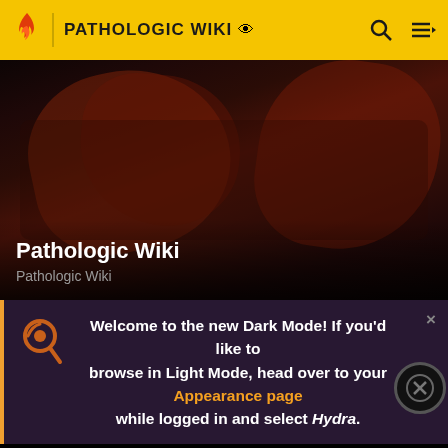PATHOLOGIC WIKI
[Figure (screenshot): Hero banner image showing dark reddish-brown abstract shapes against a dark background for Pathologic Wiki]
Pathologic Wiki
Pathologic Wiki
Welcome to the new Dark Mode! If you'd like to browse in Light Mode, head over to your Appearance page while logged in and select Hydra.
[Figure (screenshot): Apple Arcade advertisement banner for Jetpack Joyride 2]
Bachelor